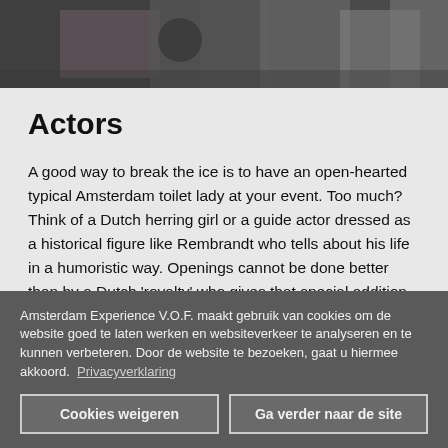[Figure (photo): Partial photo showing people at an event, possibly a red carpet or press event with cameras visible]
Actors
A good way to break the ice is to have an open-hearted typical Amsterdam toilet lady at your event. Too much? Think of a Dutch herring girl or a guide actor dressed as a historical figure like Rembrandt who tells about his life in a humoristic way. Openings cannot be done better than by a Dutch 'royalty' who gives that special addition to your event.
Amsterdam Experience V.O.F. maakt gebruik van cookies om de website goed te laten werken en websiteverkeer te analyseren en te kunnen verbeteren. Door de website te bezoeken, gaat u hiermee akkoord. Privacyverklaring
Cookies weigeren
Ga verder naar de site